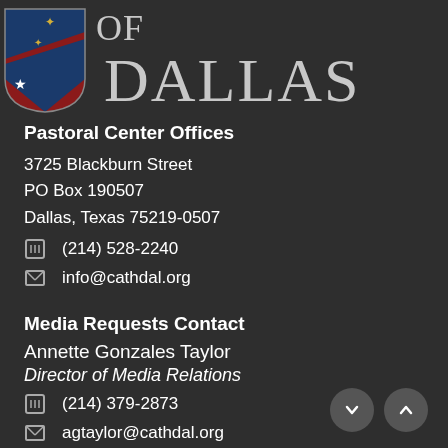[Figure (logo): Diocese of Dallas shield/crest logo with red background, blue diagonal cross, white stars, and gold fleur-de-lis, next to large serif text reading 'of Dallas']
Pastoral Center Offices
3725 Blackburn Street
PO Box 190507
Dallas, Texas 75219-0507
(214) 528-2240
info@cathdal.org
Media Requests Contact
Annette Gonzales Taylor
Director of Media Relations
(214) 379-2873
agtaylor@cathdal.org